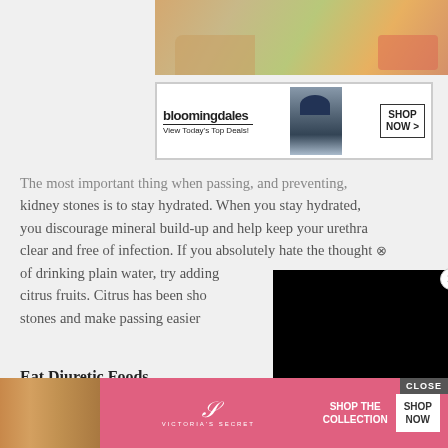[Figure (photo): Top portion of a food/hands photo, partially visible]
[Figure (other): Bloomingdales advertisement banner: logo, 'View Today's Top Deals!', model with hat, 'SHOP NOW >' button]
The most important thing when passing, and preventing, kidney stones is to stay hydrated. When you stay hydrated, you discourage mineral build-up and help keep your urethra clear and free of infection. If you absolutely hate the thought of drinking plain water, try adding citrus fruits. Citrus has been sho[wn to help dissolve] stones and make passing easier[.]
Eat Diuretic Foods
Increasing the number diuretic foods that you eat will keep your b[ladder flushed. These foods include] asparagus, beets, [and other] c[itrus fruits.]
[Figure (other): Black video player overlay with close X button]
[Figure (other): Victoria's Secret advertisement: model photo, VS logo, 'SHOP THE COLLECTION', 'SHOP NOW' button, CLOSE button]